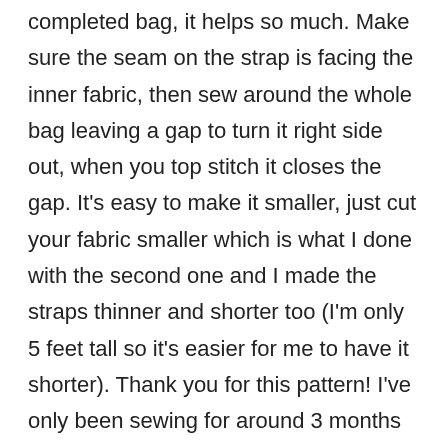completed bag, it helps so much. Make sure the seam on the strap is facing the inner fabric, then sew around the whole bag leaving a gap to turn it right side out, when you top stitch it closes the gap. It's easy to make it smaller, just cut your fabric smaller which is what I done with the second one and I made the straps thinner and shorter too (I'm only 5 feet tall so it's easier for me to have it shorter). Thank you for this pattern! I've only been sewing for around 3 months (complete beginner, never having seen anything before that) and it is perfect for what I